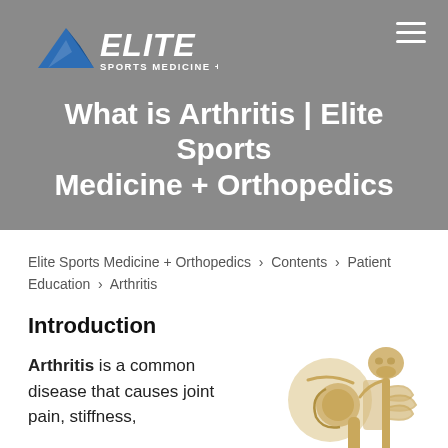[Figure (logo): Elite Sports Medicine + Orthopedics logo with mountain icon and text]
What is Arthritis | Elite Sports Medicine + Orthopedics
Elite Sports Medicine + Orthopedics > Contents > Patient Education > Arthritis
Introduction
Arthritis is a common disease that causes joint pain, stiffness,
[Figure (illustration): Medical illustration of a human skeleton highlighting the shoulder joint area]